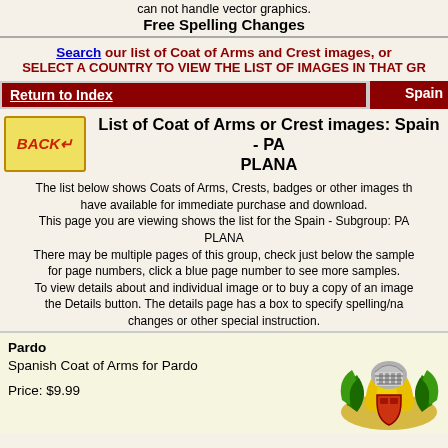can not handle vector graphics. Free Spelling Changes
Search our list of Coat of Arms and Crest images, or SELECT A COUNTRY TO VIEW THE LIST OF IMAGES IN THAT GR
Return to Index | Spain
List of Coat of Arms or Crest images: Spain - PA... PLANA
The list below shows Coats of Arms, Crests, badges or other images th... have available for immediate purchase and download. This page you are viewing shows the list for the Spain - Subgroup: PA... PLANA There may be multiple pages of this group, check just below the sample for page numbers, click a blue page number to see more samples. To view details about and individual image or to buy a copy of an image, the Details button. The details page has a box to specify spelling/na... changes or other special instruction.
Pardo
Spanish Coat of Arms for Pardo

Price: $9.99
[Figure (illustration): Coat of Arms illustration for Pardo - Spanish heraldic image with yellow/gold foliage and a knight's helmet]